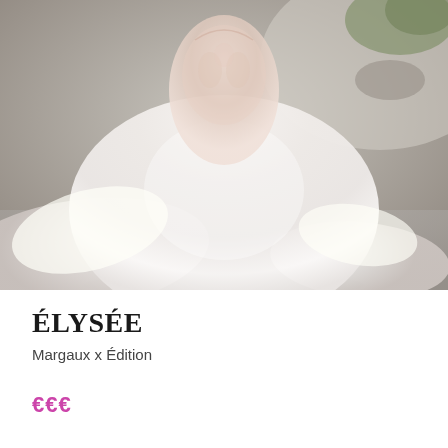[Figure (photo): Photograph of a wedding dress — white tulle ball gown with lace bodice, wide spreading skirt and train, photographed outdoors on a paved surface.]
ÉLYSÉE
Margaux x Édition
€€€